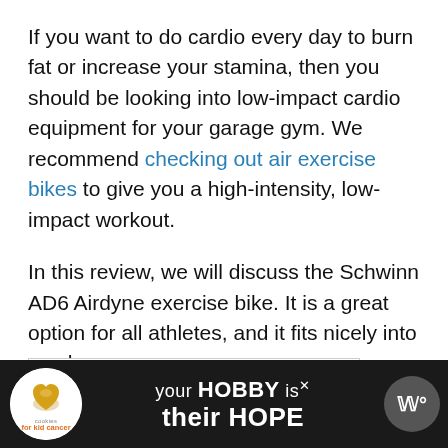If you want to do cardio every day to burn fat or increase your stamina, then you should be looking into low-impact cardio equipment for your garage gym. We recommend checking out air exercise bikes to give you a high-intensity, low-impact workout.
In this review, we will discuss the Schwinn AD6 Airdyne exercise bike. It is a great option for all athletes, and it fits nicely into any home gym.
[Figure (other): Advertisement banner at the bottom of the page showing 'cookies for kid cancer' logo with a heart-shaped cookie, and text 'your HOBBY is their HOPE' with a close button and a circular W icon on the right.]